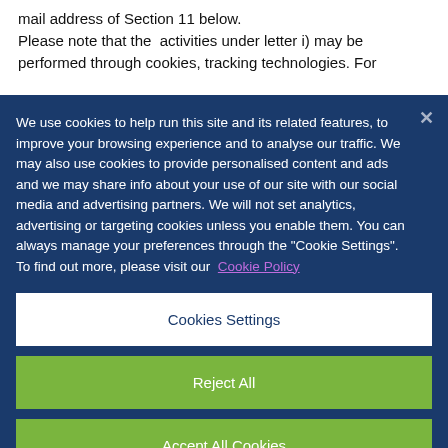mail address of Section 11 below.
Please note that the activities under letter i) may be
performed through cookies, tracking technologies. For
We use cookies to help run this site and its related features, to improve your browsing experience and to analyse our traffic. We may also use cookies to provide personalised content and ads and we may share info about your use of our site with our social media and advertising partners. We will not set analytics, advertising or targeting cookies unless you enable them. You can always manage your preferences through the "Cookie Settings". To find out more, please visit our Cookie Policy
Cookies Settings
Reject All
Accept All Cookies